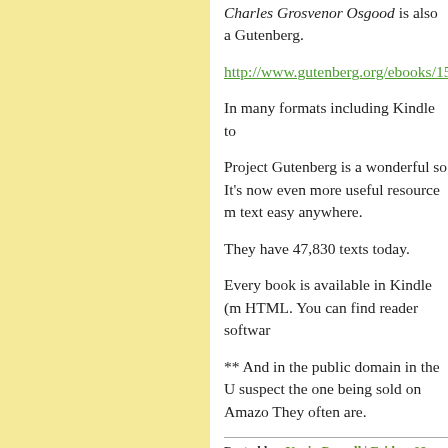Charles Grosvenor Osgood is also a Gutenberg.
http://www.gutenberg.org/ebooks/15
In many formats including Kindle to
Project Gutenberg is a wonderful so It's now even more useful resource m text easy anywhere.
They have 47,830 texts today.
Every book is available in Kindle (m HTML. You can find reader softwar
** And in the public domain in the U suspect the one being sold on Amazo They often are.
Posted by: Kevin Purcell | Friday, 09 January 2015 at
Really, the major problem with choo